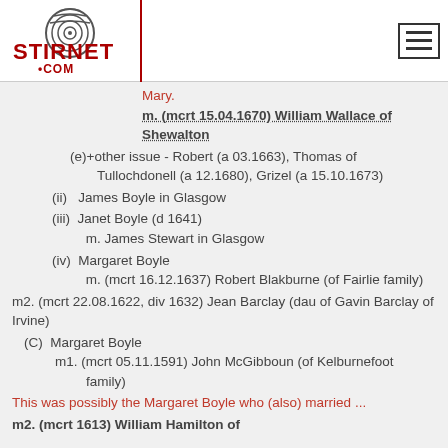[Figure (logo): Stirnet.com logo with fingerprint graphic and red text]
Mary.
m. (mcrt 15.04.1670) William Wallace of Shewalton
(e)+other issue - Robert (a 03.1663), Thomas of Tullochdonell (a 12.1680), Grizel (a 15.10.1673)
(ii) James Boyle in Glasgow
(iii) Janet Boyle (d 1641)
m. James Stewart in Glasgow
(iv) Margaret Boyle
m. (mcrt 16.12.1637) Robert Blakburne (of Fairlie family)
m2. (mcrt 22.08.1622, div 1632) Jean Barclay (dau of Gavin Barclay of Irvine)
(C) Margaret Boyle
m1. (mcrt 05.11.1591) John McGibboun (of Kelburnefoot family)
This was possibly the Margaret Boyle who (also) married ...
m2. (mcrt 1613) William Hamilton of